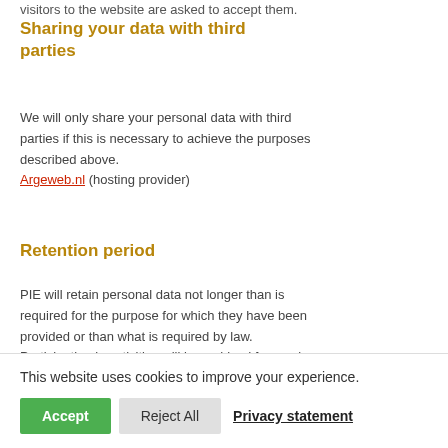visitors to the website are asked to accept them.
Sharing your data with third parties
We will only share your personal data with third parties if this is necessary to achieve the purposes described above.
Argeweb.nl (hosting provider)
Retention period
PIE will retain personal data not longer than is required for the purpose for which they have been provided or than what is required by law. Participation in activities will be archived for use in agreed follow-up activities and for potential internal evaluation purposes. PIE will retain your data not longer than two years.
This website uses cookies to improve your experience.
Accept   Reject All   Privacy statement